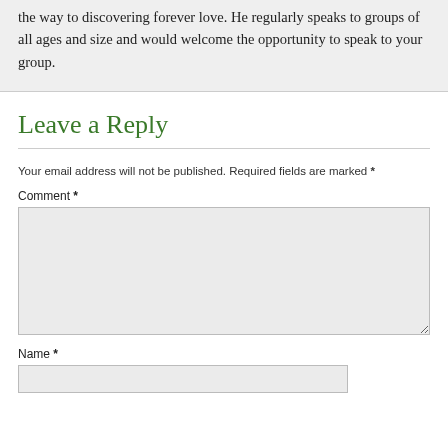the way to discovering forever love. He regularly speaks to groups of all ages and size and would welcome the opportunity to speak to your group.
Leave a Reply
Your email address will not be published. Required fields are marked *
Comment *
Name *